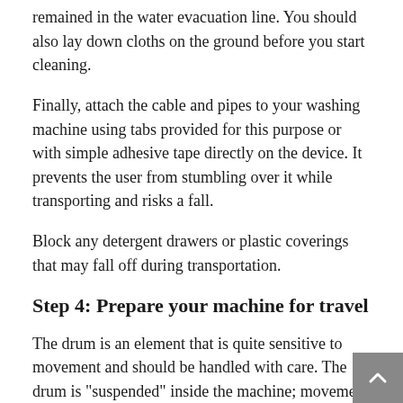remained in the water evacuation line. You should also lay down cloths on the ground before you start cleaning.
Finally, attach the cable and pipes to your washing machine using tabs provided for this purpose or with simple adhesive tape directly on the device. It prevents the user from stumbling over it while transporting and risks a fall.
Block any detergent drawers or plastic coverings that may fall off during transportation.
Step 4: Prepare your machine for travel
The drum is an element that is quite sensitive to movement and should be handled with care. The drum is "suspended" inside the machine; movement of the latter or even transporting it in a truck/car can damage it.